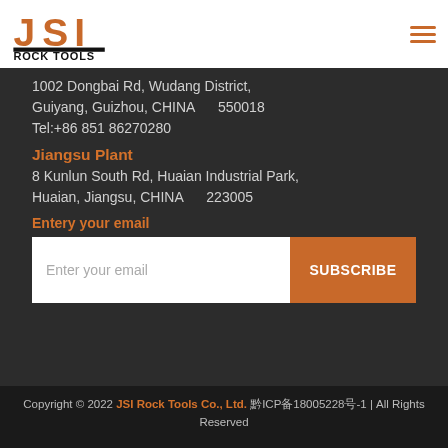[Figure (logo): JSI Rock Tools logo — orange and black stylized letters JSI with a black bar and 'ROCK TOOLS' text below]
1002 Dongbai Rd, Wudang District,
Guiyang, Guizhou, CHINA     550018
Tel:+86 851 86270280
Jiangsu Plant
8 Kunlun South Rd, Huaian Industrial Park,
Huaian, Jiangsu, CHINA     223005
Entery your email
Enter your email
SUBSCRIBE
Copyright © 2022 JSI Rock Tools Co., Ltd. 黔ICP备18005228号-1 | All Rights Reserved